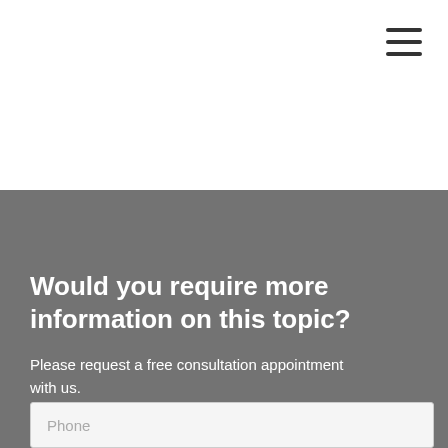[Figure (other): Hamburger menu icon (three horizontal lines) in the top-right corner of the page]
Would you require more information on this topic?
Please request a free consultation appointment with us.
Phone